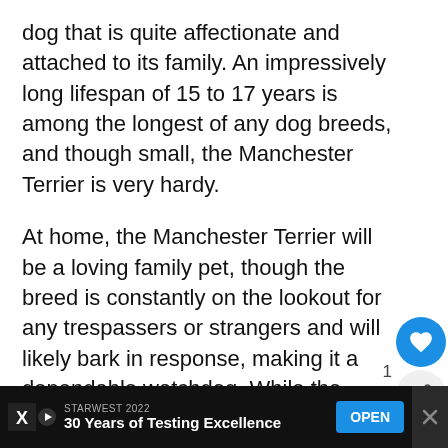dog that is quite affectionate and attached to its family. An impressively long lifespan of 15 to 17 years is among the longest of any dog breeds, and though small, the Manchester Terrier is very hardy.
At home, the Manchester Terrier will be a loving family pet, though the breed is constantly on the lookout for any trespassers or strangers and will likely bark in response, making it a dependable watchdog. While the Manchester Terrier will enj playing with children, toddlers and young children should always be supervised when interacting with these dogs, as with am
[Figure (other): UI overlay: heart/favorite button (blue circle with heart icon), share button, count '1', and a 'What's Next' panel showing a Toy Fox Terrier dog illustration with label 'WHAT'S NEXT → Toy Fox Terrier Dog...']
[Figure (other): Advertisement banner at bottom: dark background, X logo, 'STARWEST 2022', '30 Years of Testing Excellence', blue OPEN button, close X on right]